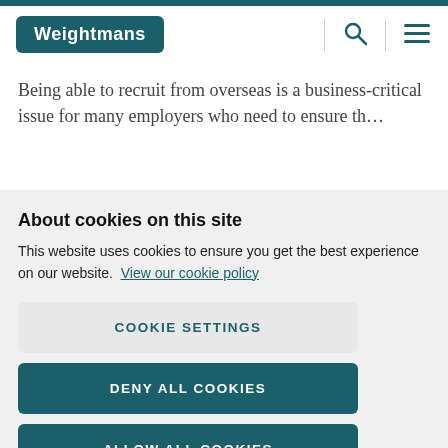[Figure (logo): Weightmans logo — white text on dark teal rounded rectangle background]
Being able to recruit from overseas is a business-critical issue for many employers who need to ensure th...
About cookies on this site
This website uses cookies to ensure you get the best experience on our website. View our cookie policy
COOKIE SETTINGS
DENY ALL COOKIES
ALLOW ALL COOKIES